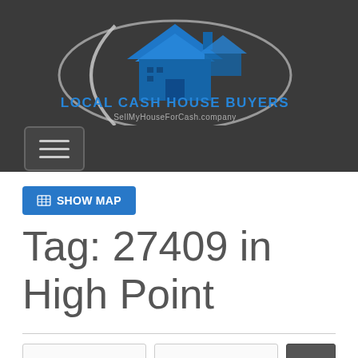[Figure (logo): Local Cash House Buyers logo with house icon and swoosh, SellMyHouseForCash.company tagline, on dark background]
[Figure (other): Hamburger menu button (three horizontal lines) on dark background]
SHOW MAP
Tag: 27409 in High Point
Search bar row with two input fields and a search button